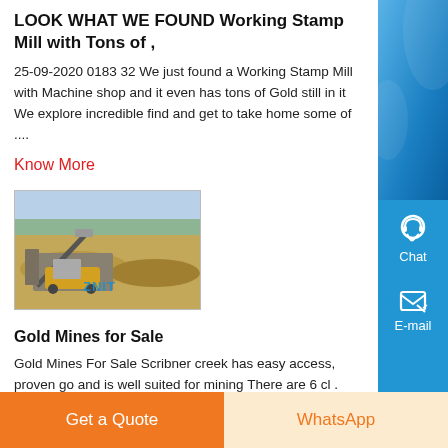LOOK WHAT WE FOUND Working Stamp Mill with Tons of ,
25-09-2020 0183 32 We just found a Working Stamp Mill with Machine shop and it even has tons of Gold still in it We explore incredible find and get to take home some of ....
Know More
[Figure (photo): Outdoor mining equipment scene showing a stamp mill and machinery in an open excavated area, with trees in the background. A blue watermark 'ZNIT' is visible.]
Gold Mines for Sale
Gold Mines For Sale Scribner creek has easy access, proven go and is well suited for mining There are 6 cl . The potential outpu